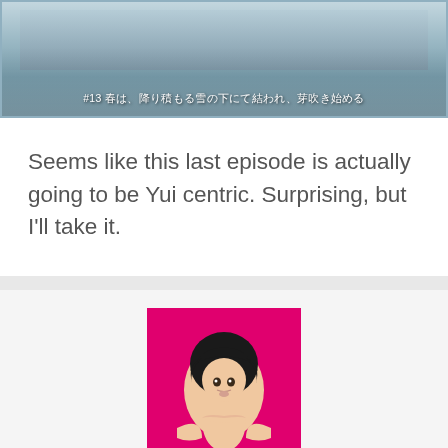[Figure (screenshot): Anime screenshot with Japanese text subtitle showing episode title]
Seems like this last episode is actually going to be Yui centric. Surprising, but I'll take it.
[Figure (illustration): Avatar image of an anime character with dark hair on a pink/magenta background]
ABOUT SETSUKEN
The Owner, webmaster, designer, coder and